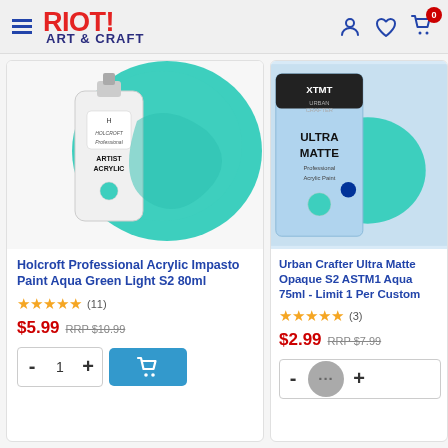[Figure (screenshot): Riot Art & Craft website header with logo, hamburger menu, user icon, wishlist heart icon, and cart icon with 0 badge]
[Figure (photo): Holcroft Professional Artist Acrylic Impasto Colour tube in front of a teal/aqua green paint swatch]
Holcroft Professional Acrylic Impasto Paint Aqua Green Light S2 80ml
★★★★★ (11)
$5.99 RRP $10.99
[Figure (photo): Urban Crafter Ultra Matte acrylic paint tube partially visible on right side]
Urban Crafter Ultra Matte Opaque S2 ASTM1 Aqua 75ml - Limit 1 Per Customer
★★★★★ (3)
$2.99 RRP $7.99